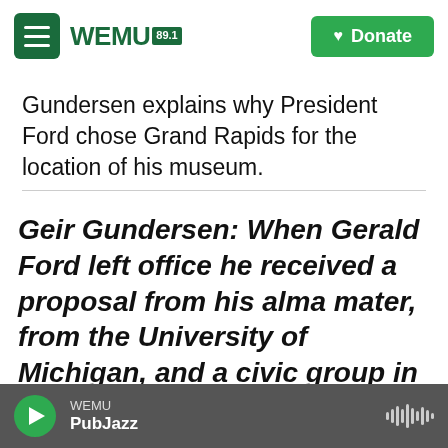WEMU 89.1 — navigation bar with Donate button
Gundersen explains why President Ford chose Grand Rapids for the location of his museum.
Geir Gundersen: When Gerald Ford left office he received a proposal from his alma mater, from the University of Michigan, and a civic group in Grand Rapids, which is the community where he grew up and the area that he represented in congress for 25 years.
WEMU PubJazz — audio player bar